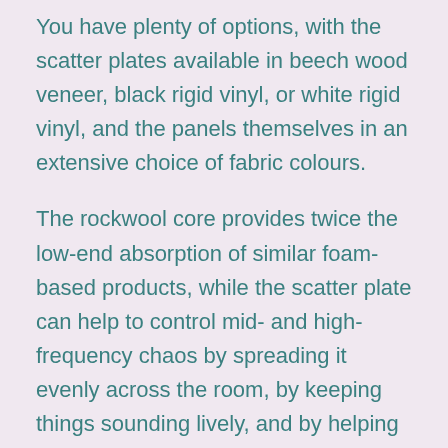You have plenty of options, with the scatter plates available in beech wood veneer, black rigid vinyl, or white rigid vinyl, and the panels themselves in an extensive choice of fabric colours.
The rockwool core provides twice the low-end absorption of similar foam-based products, while the scatter plate can help to control mid- and high-frequency chaos by spreading it evenly across the room, by keeping things sounding lively, and by helping to achieve an even decay time from low to high frequencies.
Alternatively
If you're just after diffusion, then QIK also offers the